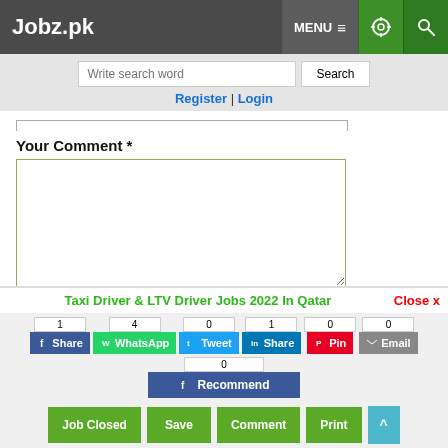Jobz.pk
Write search word | Search
Register | Login
Your Comment *
Question: What is capital of Pakistan?
(Answer can be from islamabad | lahore)
Taxi Driver & LTV Driver Jobs 2022 In Qatar
1 Share | 4 WhatsApp | 0 Tweet | 1 Share | 0 Pin | 0 Email | 0 Recommend
Job Closed | Save | Comment | Print